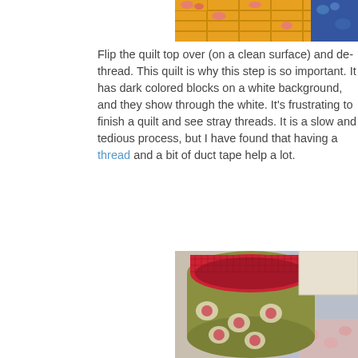[Figure (photo): Top cropped photo showing colorful patterned quilt fabric with pink floral and blue designs on yellow/orange background]
Flip the quilt top over (on a clean surface) and de-thread. This quilt is why this step is so important. It has dark colored blocks on a white background, and they show through the white. It's frustrating to finish a quilt and see stray threads. It is a slow and tedious process, but I have found that having a thread and a bit of duct tape help a lot.
[Figure (photo): Photo of a fabric basket made from green fabric with rose print on the outside and red gingham on the inside, placed next to quilt layers]